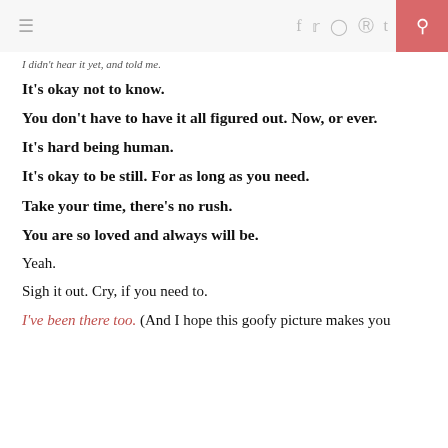≡  f t ℹ ℗ t 🔍
I didn't hear it yet, and told me.
It's okay not to know.
You don't have to have it all figured out. Now, or ever.
It's hard being human.
It's okay to be still. For as long as you need.
Take your time, there's no rush.
You are so loved and always will be.
Yeah.
Sigh it out. Cry, if you need to.
I've been there too. (And I hope this goofy picture makes you